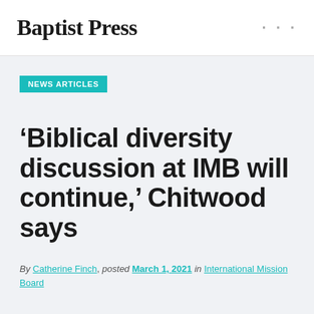Baptist Press
NEWS ARTICLES
‘Biblical diversity discussion at IMB will continue,’ Chitwood says
By Catherine Finch, posted March 1, 2021 in International Mission Board